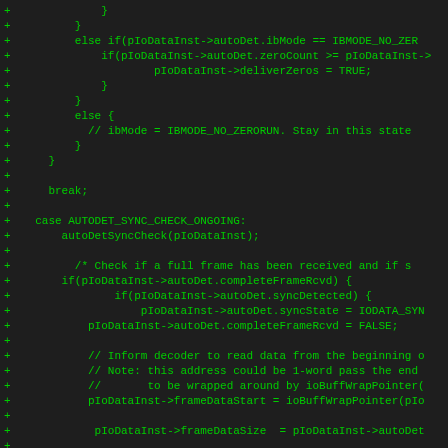[Figure (screenshot): Source code diff showing C code for IoDataInst auto-detection sync check logic, displayed in a dark terminal/IDE with green monospace text. Lines prefixed with '+' indicating additions.]